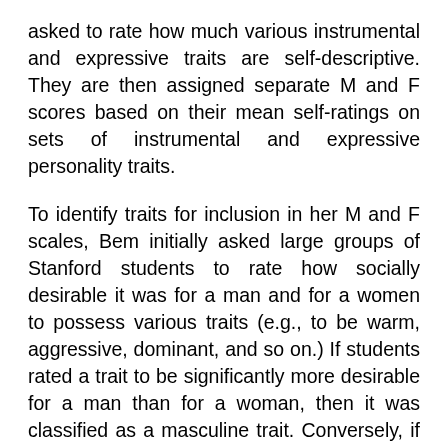asked to rate how much various instrumental and expressive traits are self-descriptive. They are then assigned separate M and F scores based on their mean self-ratings on sets of instrumental and expressive personality traits.
To identify traits for inclusion in her M and F scales, Bem initially asked large groups of Stanford students to rate how socially desirable it was for a man and for a women to possess various traits (e.g., to be warm, aggressive, dominant, and so on.) If students rated a trait to be significantly more desirable for a man than for a woman, then it was classified as a masculine trait. Conversely, if students rated a trait to be significantly more